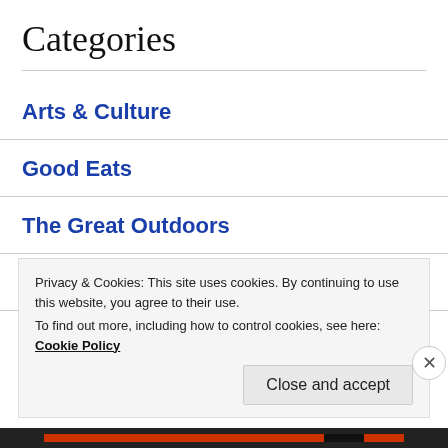Categories
Arts & Culture
Good Eats
The Great Outdoors
Travel Tips
Privacy & Cookies: This site uses cookies. By continuing to use this website, you agree to their use.
To find out more, including how to control cookies, see here: Cookie Policy
Close and accept